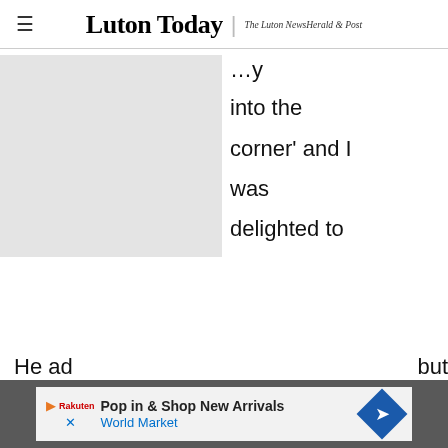Luton Today | The Luton News Herald & Post
[Figure (photo): Grey placeholder image on the left side of the article]
...into the corner' and I was delighted to do it."
Team-mate and fellow Glaswegian Naismith, who was to prove the hero of the afternoon with his dramatic stoppage time winner, was thrilled for his team-mate to get on the scoresheet.
He ad... ...but
[Figure (infographic): Advertisement bar: Pop in & Shop New Arrivals - World Market]